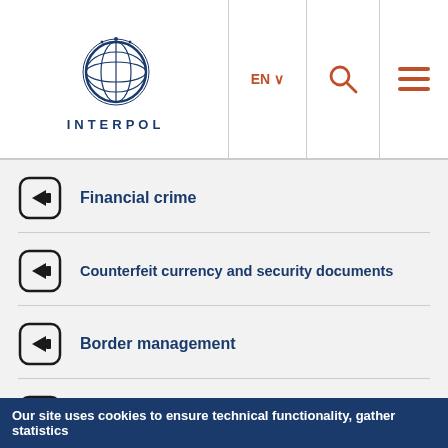[Figure (logo): INTERPOL globe logo with text INTERPOL below]
Financial crime
Counterfeit currency and security documents
Border management
Databases
Our site uses cookies to ensure technical functionality, gather statistics